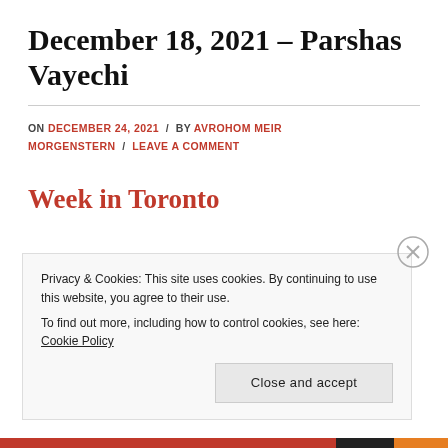December 18, 2021 – Parshas Vayechi
ON DECEMBER 24, 2021 / BY AVROHOM MEIR MORGENSTERN / LEAVE A COMMENT
Week in Toronto
Privacy & Cookies: This site uses cookies. By continuing to use this website, you agree to their use.
To find out more, including how to control cookies, see here: Cookie Policy